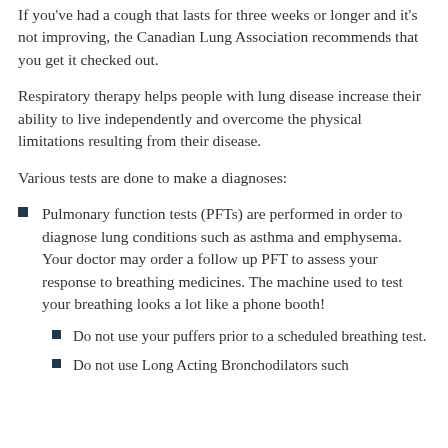If you've had a cough that lasts for three weeks or longer and it's not improving, the Canadian Lung Association recommends that you get it checked out.
Respiratory therapy helps people with lung disease increase their ability to live independently and overcome the physical limitations resulting from their disease.
Various tests are done to make a diagnoses:
Pulmonary function tests (PFTs) are performed in order to diagnose lung conditions such as asthma and emphysema. Your doctor may order a follow up PFT to assess your response to breathing medicines. The machine used to test your breathing looks a lot like a phone booth!
Do not use your puffers prior to a scheduled breathing test.
Do not use Long Acting Bronchodilators such